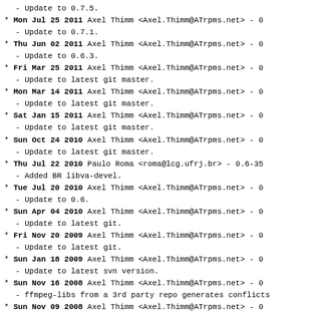- Update to 0.7.5.
* Mon Jul 25 2011 Axel Thimm <Axel.Thimm@ATrpms.net> - 0
- Update to 0.7.1.
* Thu Jun 02 2011 Axel Thimm <Axel.Thimm@ATrpms.net> - 0
- Update to 0.6.3.
* Fri Mar 25 2011 Axel Thimm <Axel.Thimm@ATrpms.net> - 0
- Update to latest git master.
* Mon Mar 14 2011 Axel Thimm <Axel.Thimm@ATrpms.net> - 0
- Update to latest git master.
* Sat Jan 15 2011 Axel Thimm <Axel.Thimm@ATrpms.net> - 0
- Update to latest git master.
* Sun Oct 24 2010 Axel Thimm <Axel.Thimm@ATrpms.net> - 0
- Update to latest git master.
* Thu Jul 22 2010 Paulo Roma <roma@lcg.ufrj.br> - 0.6-35
- Added BR libva-devel.
* Tue Jul 20 2010 Axel Thimm <Axel.Thimm@ATrpms.net> - 0
- Update to 0.6.
* Sun Apr 04 2010 Axel Thimm <Axel.Thimm@ATrpms.net> - 0
- Update to latest git.
* Fri Nov 20 2009 Axel Thimm <Axel.Thimm@ATrpms.net> - 0
- Update to latest git.
* Sun Jan 18 2009 Axel Thimm <Axel.Thimm@ATrpms.net> - 0
- Update to latest svn version.
* Sun Nov 16 2008 Axel Thimm <Axel.Thimm@ATrpms.net> - 0
- ffmpeg-libs from a 3rd party repo generates conflicts
* Sun Nov 09 2008 Axel Thimm <Axel.Thimm@ATrpms.net> - 0
- Update to latest svn version.
* Mon Feb 18 2008 Axel Thimm <Axel.Thimm@ATrpms.net> - 0
- Update to latest svn version.
* Sat Jan 12 2008 Axel Thimm <Axel.Thimm@ATrpms.net> - 0
- Update to latest svn version.